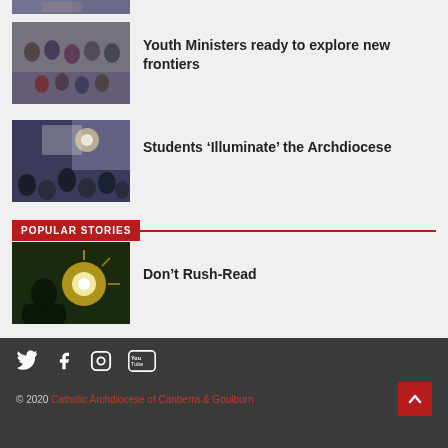[Figure (photo): Partial top strip of a group photo, cropped at top of page]
[Figure (photo): Group of youth ministers seated together in a room]
Youth Ministers ready to explore new frontiers
[Figure (photo): Audience watching a presentation/stage performance]
Students ‘Illuminate’ the Archdiocese
POPULAR STORIES
[Figure (photo): Person silhouetted against bright sunlight outdoors]
Don’t Rush-Read
© 2020 Catholic Archdiocese of Canberra & Goulburn